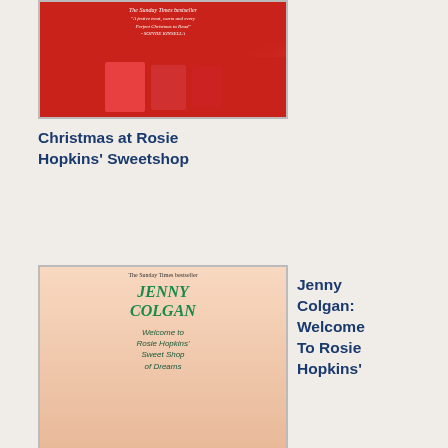[Figure (illustration): Book cover for Christmas at Rosie Hopkins' Sweetshop - red background with festive illustrations]
Christmas at Rosie Hopkins' Sweetshop
[Figure (illustration): Book cover for Jenny Colgan: Welcome To Rosie Hopkins' Sweetshop Of Dreams - peach/teal color with illustrated figures]
Jenny Colgan: Welcome To Rosie Hopkins'
Sweetshop Of Dreams
[Figure (illustration): Book cover for Veronica Henry: The Impulse Purchase - blue background]
Veronica Henry: The Impulse
yea
ago
He
san
the
firs
act
aria
fron
The
Fly
Dut
anc
I
cou
not
bel
wha
I
wa:
hea
I
sai